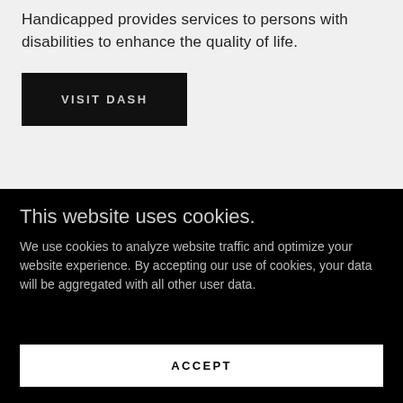Handicapped provides services to persons with disabilities to enhance the quality of life.
VISIT DASH
This website uses cookies.
We use cookies to analyze website traffic and optimize your website experience. By accepting our use of cookies, your data will be aggregated with all other user data.
ACCEPT